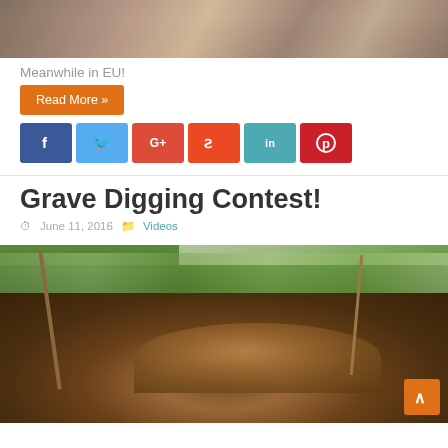[Figure (photo): Top partial image showing people, cropped at top of page]
Meanwhile in EU!
Read More »
[Figure (infographic): Social media share buttons: Facebook, Twitter, Google+, StumbleUpon, LinkedIn, Pinterest]
Grave Digging Contest!
June 11, 2016   Videos
[Figure (photo): Outdoor grave digging contest scene with a man digging in a pit of dirt, spectators and green hedges in background]